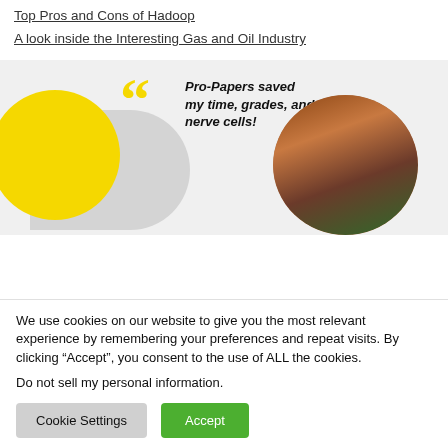Top Pros and Cons of Hadoop
A look inside the Interesting Gas and Oil Industry
[Figure (illustration): Promotional banner for Pro-Papers with yellow circle, grey arrow shape, large yellow quotation marks, italic bold text reading 'Pro-Papers saved my time, grades, and nerve cells!' and a circular photo of a red-haired woman.]
We use cookies on our website to give you the most relevant experience by remembering your preferences and repeat visits. By clicking “Accept”, you consent to the use of ALL the cookies.
Do not sell my personal information.
Cookie Settings | Accept